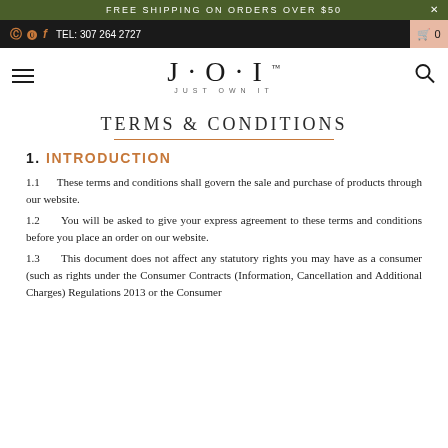FREE SHIPPING ON ORDERS OVER $50
TEL: 307 264 2727
J·O·I JUST OWN IT
TERMS & CONDITIONS
1. INTRODUCTION
1.1    These terms and conditions shall govern the sale and purchase of products through our website.
1.2    You will be asked to give your express agreement to these terms and conditions before you place an order on our website.
1.3    This document does not affect any statutory rights you may have as a consumer (such as rights under the Consumer Contracts (Information, Cancellation and Additional Charges) Regulations 2013 or the Consumer